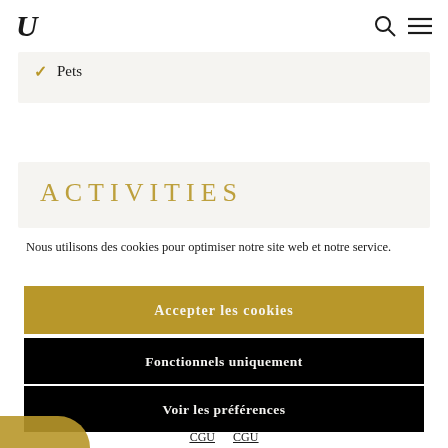U [logo] [search icon] [menu icon]
✓ Pets
ACTIVITIES
Nous utilisons des cookies pour optimiser notre site web et notre service.
Accepter les cookies
Fonctionnels uniquement
Voir les préférences
CGU  CGU